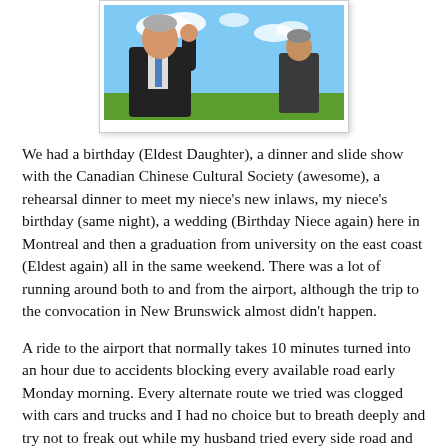[Figure (photo): A photograph showing a man in a dark suit giving a thumbs up outdoors, with another person visible in the background, blue sky and clouds above, green grass below.]
We had a birthday (Eldest Daughter), a dinner and slide show with the Canadian Chinese Cultural Society (awesome), a rehearsal dinner to meet my niece's new inlaws, my niece's birthday (same night), a wedding (Birthday Niece again) here in Montreal and then a graduation from university on the east coast (Eldest again) all in the same weekend. There was a lot of running around both to and from the airport, although the trip to the convocation in New Brunswick almost didn't happen.
A ride to the airport that normally takes 10 minutes turned into an hour due to accidents blocking every available road early Monday morning. Every alternate route we tried was clogged with cars and trucks and I had no choice but to breath deeply and try not to freak out while my husband tried every side road and service road to no avail and my daughter sat quietly in the back seat. We finally arrived and